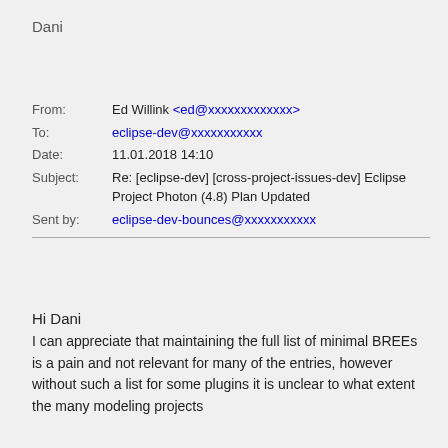Dani
From: Ed Willink <ed@xxxxxxxxxxxxx>
To: eclipse-dev@xxxxxxxxxxx
Date: 11.01.2018 14:10
Subject: Re: [eclipse-dev] [cross-project-issues-dev] Eclipse Project Photon (4.8) Plan Updated
Sent by: eclipse-dev-bounces@xxxxxxxxxxx
Hi Dani
I can appreciate that maintaining the full list of minimal BREEs is a pain and not relevant for many of the entries, however without such a list for some plugins it is unclear to what extent the many modeling projects (TMF, UML2, OCL etc.) are constrained from…